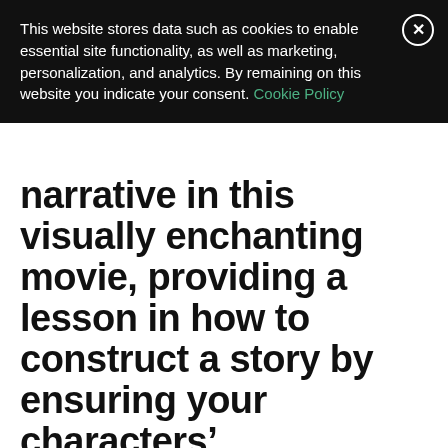This website stores data such as cookies to enable essential site functionality, as well as marketing, personalization, and analytics. By remaining on this website you indicate your consent. Cookie Policy
narrative in this visually enchanting movie, providing a lesson in how to construct a story by ensuring your characters’ motivations and choices are consistent and believable.
So you already saw the recent reboot of The Jungle Book film and you know it’s very popular and praised by critics and viewers alike. Looking at the headline of this post, you probably think I’m crazy. “Whaaat? Did you find issues with this beautiful